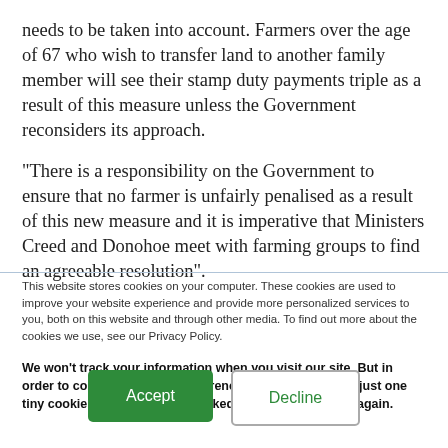needs to be taken into account. Farmers over the age of 67 who wish to transfer land to another family member will see their stamp duty payments triple as a result of this measure unless the Government reconsiders its approach.
“There is a responsibility on the Government to ensure that no farmer is unfairly penalised as a result of this new measure and it is imperative that Ministers Creed and Donohoe meet with farming groups to find an agreeable resolution”.
This website stores cookies on your computer. These cookies are used to improve your website experience and provide more personalized services to you, both on this website and through other media. To find out more about the cookies we use, see our Privacy Policy.
We won't track your information when you visit our site. But in order to comply with your preferences, we'll have to use just one tiny cookie so that you're not asked to make this choice again.